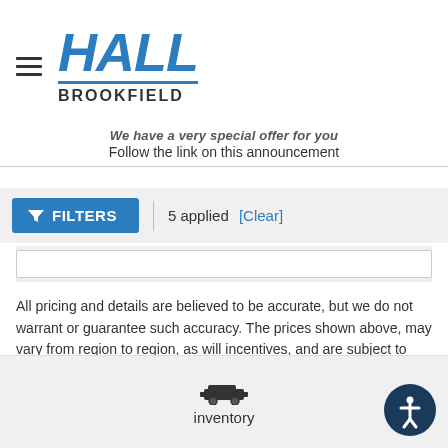[Figure (logo): Hall Brookfield dealership logo in blue italic bold font with BROOKFIELD subtitle]
We have a very special offer for you
Follow the link on this announcement
FILTERS  |  5 applied  [Clear]
All pricing and details are believed to be accurate, but we do not warrant or guarantee such accuracy. The prices shown above, may vary from region to region, as will incentives, and are subject to change. Vehicle information is
inventory